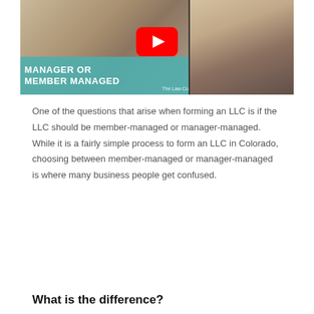[Figure (screenshot): YouTube video thumbnail showing 'Manager or Member Managed' with a woman at a laptop on the left, a YouTube play button in the center, and business people's hands in a fist bump on the right. Teal overlay banner reads 'MANAGER OR MEMBER MANAGED' with 'The Law Co' branding.]
One of the questions that arise when forming an LLC is if the LLC should be member-managed or manager-managed. While it is a fairly simple process to form an LLC in Colorado, choosing between member-managed or manager-managed is where many business people get confused.
What is the difference?